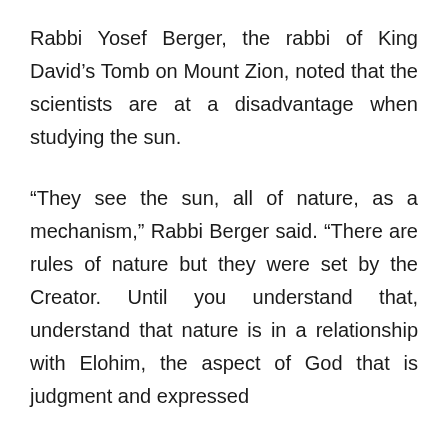Rabbi Yosef Berger, the rabbi of King David's Tomb on Mount Zion, noted that the scientists are at a disadvantage when studying the sun.
“They see the sun, all of nature, as a mechanism,” Rabbi Berger said. “There are rules of nature but they were set by the Creator. Until you understand that, understand that nature is in a relationship with Elohim, the aspect of God that is judgment and expressed